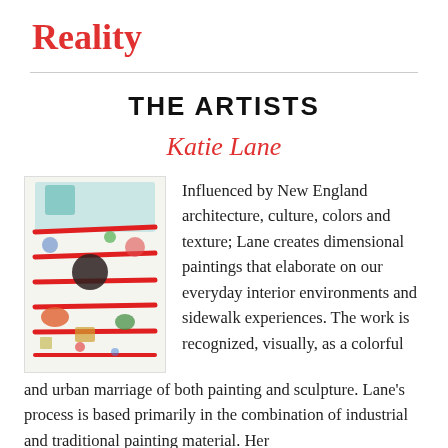Reality
THE ARTISTS
Katie Lane
[Figure (photo): A colorful dimensional painting by Katie Lane featuring red horizontal lines across a white surface with painted imagery of various objects and textures.]
Influenced by New England architecture, culture, colors and texture; Lane creates dimensional paintings that elaborate on our everyday interior environments and sidewalk experiences. The work is recognized, visually, as a colorful and urban marriage of both painting and sculpture. Lane's process is based primarily in the combination of industrial and traditional painting material. Her